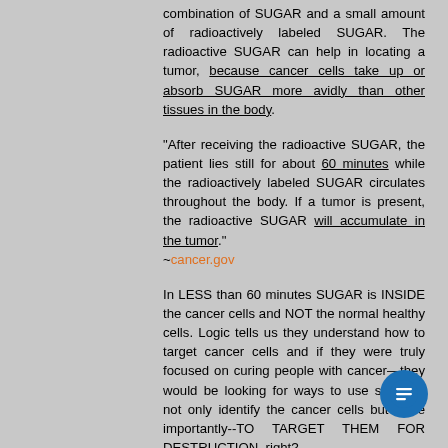combination of SUGAR and a small amount of radioactively labeled SUGAR. The radioactive SUGAR can help in locating a tumor, because cancer cells take up or absorb SUGAR more avidly than other tissues in the body.
"After receiving the radioactive SUGAR, the patient lies still for about 60 minutes while the radioactively labeled SUGAR circulates throughout the body. If a tumor is present, the radioactive SUGAR will accumulate in the tumor." ~cancer.gov
In LESS than 60 minutes SUGAR is INSIDE the cancer cells and NOT the normal healthy cells. Logic tells us they understand how to target cancer cells and if they were truly focused on curing people with cancer—they would be looking for ways to use sugar to not only identify the cancer cells but more importantly--TO TARGET THEM FOR DESTRUCTION, right?